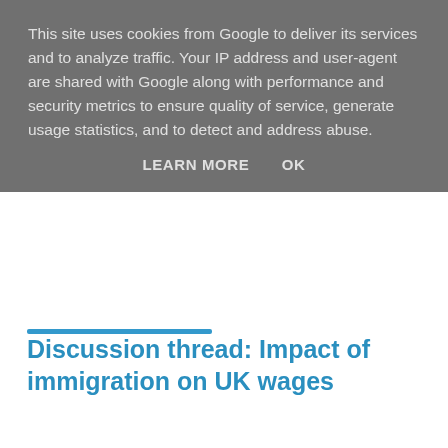This site uses cookies from Google to deliver its services and to analyze traffic. Your IP address and user-agent are shared with Google along with performance and security metrics to ensure quality of service, generate usage statistics, and to detect and address abuse.
LEARN MORE   OK
Discussion thread: Impact of immigration on UK wages
Interesting comments yesterday sparked by BE, so more on the topic for today is in order.
Economics is hard and open to interpretation. However, since 2010 there have been around1.5 million new UK jobs created. At around 250,000 a year, more than the EU combined, albeit less than Germany and but Spain and Greece have seen big declines to the net is greater in the